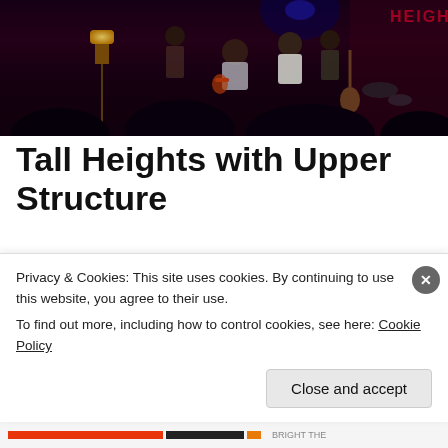[Figure (photo): Concert/performance photo showing musicians on a dark stage with colored lights, guitars visible, audience silhouettes in foreground, sign reading HEIGHT visible in background]
Tall Heights with Upper Structure
Tall Heights with Upper Structure
Sunday, December 8, 2019
Privacy & Cookies: This site uses cookies. By continuing to use this website, you agree to their use.
To find out more, including how to control cookies, see here: Cookie Policy